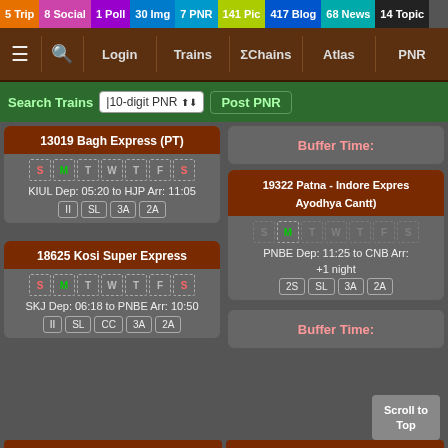5 Trip | 8 Social | 1 Poll | 30 Img | 7 PNR | 141 Pic | 417 Blog | 68 News | 14 Topic
[Figure (screenshot): Navigation bar with menu icon, search icon, Login, Trains, ΣChains, Atlas, PNR]
Search Trains | 10-digit PNR | Post PNR
13019 Bagh Express (PT)
S M T W T F S — KIUL Dep: 05:20 to HJP Arr: 11:05 — Classes: II SL 3A 2A
18625 Kosi Super Express
S M T W T F S — SKJ Dep: 06:18 to PNBE Arr: 10:50 — Classes: II SL CC 3A 2A
18181 Tatanagar - Thawe
Buffer Time:
19322 Patna - Indore Express (via Ayodhya Cantt)
M — PNBE Dep: 11:25 to CNB Arr: — +1 night — Classes: 2S SL 3A 2A
Buffer Time:
13237 Patna -
Scroll to Top